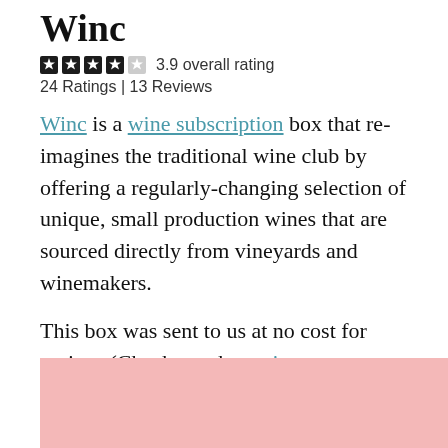Winc
3.9 overall rating
24 Ratings | 13 Reviews
Winc is a wine subscription box that re-imagines the traditional wine club by offering a regularly-changing selection of unique, small production wines that are sourced directly from vineyards and winemakers.
This box was sent to us at no cost for review. (Check out the review process post to learn more about how we review boxes.)
[Figure (photo): Pink/rose colored background image, partially visible at the bottom of the page]